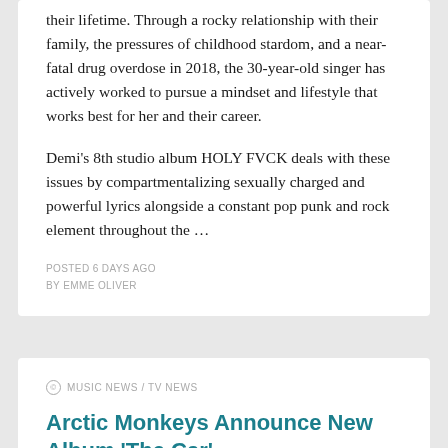their lifetime. Through a rocky relationship with their family, the pressures of childhood stardom, and a near-fatal drug overdose in 2018, the 30-year-old singer has actively worked to pursue a mindset and lifestyle that works best for her and their career.
Demi's 8th studio album HOLY FVCK deals with these issues by compartmentalizing sexually charged and powerful lyrics alongside a constant pop punk and rock element throughout the …
POSTED 6 DAYS AGO
BY EMME OLIVER
MUSIC NEWS / TV NEWS
Arctic Monkeys Announce New Album 'The Car'
[Figure (photo): Partial image of Arctic Monkeys album art or related photo, brown/wood tones visible]